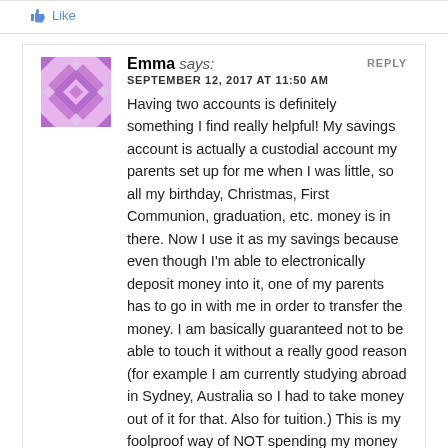[Figure (other): Like button with thumbs up icon and 'Like' text in blue]
REPLY
[Figure (other): Purple geometric patterned avatar for user Emma]
Emma says:
SEPTEMBER 12, 2017 AT 11:50 AM
Having two accounts is definitely something I find really helpful! My savings account is actually a custodial account my parents set up for me when I was little, so all my birthday, Christmas, First Communion, graduation, etc. money is in there. Now I use it as my savings because even though I'm able to electronically deposit money into it, one of my parents has to go in with me in order to transfer the money. I am basically guaranteed not to be able to touch it without a really good reason (for example I am currently studying abroad in Sydney, Australia so I had to take money out of it for that. Also for tuition.) This is my foolproof way of NOT spending my money (because